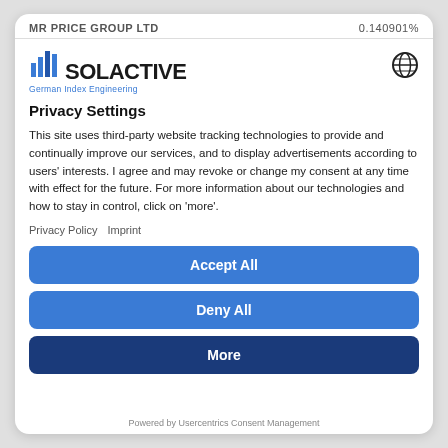MR PRICE GROUP LTD   0.140901%
[Figure (logo): Solactive logo with bar chart icon and text 'SOLACTIVE German Index Engineering']
Privacy Settings
This site uses third-party website tracking technologies to provide and continually improve our services, and to display advertisements according to users' interests. I agree and may revoke or change my consent at any time with effect for the future. For more information about our technologies and how to stay in control, click on 'more'.
Privacy Policy   Imprint
Accept All
Deny All
More
Powered by Usercentrics Consent Management